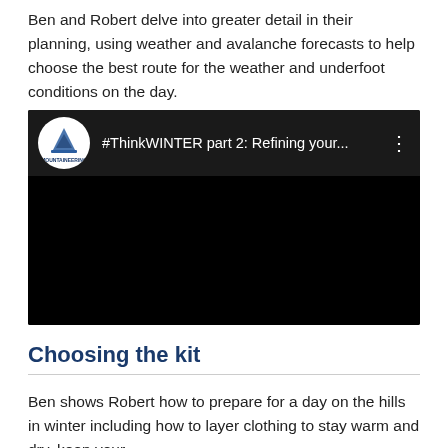Ben and Robert delve into greater detail in their planning, using weather and avalanche forecasts to help choose the best route for the weather and underfoot conditions on the day.
[Figure (screenshot): Embedded YouTube video thumbnail showing '#ThinkWINTER part 2: Refining your...' with Mountaineering Scotland logo on black background]
Choosing the kit
Ben shows Robert how to prepare for a day on the hills in winter including how to layer clothing to stay warm and dry, keep your